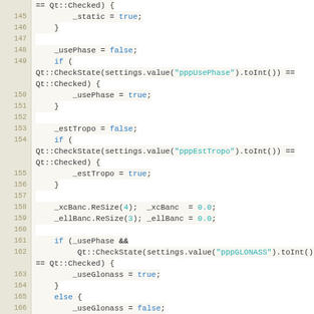[Figure (screenshot): Source code listing showing C++ code lines 145-169 with syntax highlighting. Line numbers in left gutter, code on right with keywords in blue and string literals in teal.]